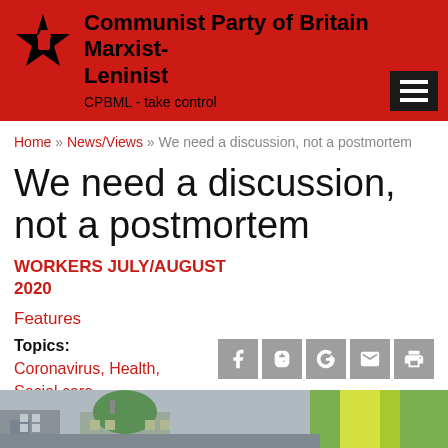Communist Party of Britain Marxist-Leninist
CPBML - take control
Home » News/Views » We need a discussion, not a postmortem
We need a discussion, not a postmortem
WORKERS JULY/AUGUST 2020
Features
Topics:
Coronavirus, Health,
Social care
[Figure (screenshot): Bottom strip showing a street scene photograph with a building with green dome visible]